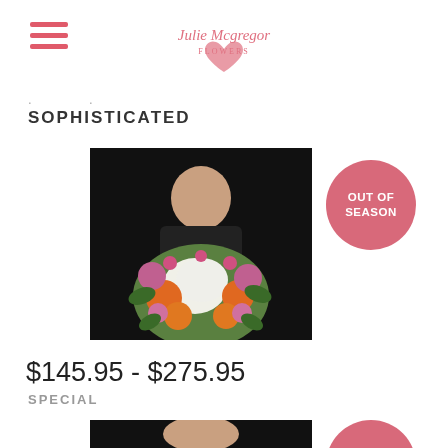Julie Mcgregor Flowers — navigation header with logo
. . SOPHISTICATED
[Figure (photo): Woman in black dress holding a large colorful flower bouquet with orange, white, and pink flowers on a black background]
[Figure (infographic): OUT OF SEASON badge — pink circle with white text]
$145.95 - $275.95
SPECIAL
[Figure (photo): Partial view of another product photo at the bottom of the page]
[Figure (infographic): OUT OF (SEASON) badge — partial pink circle at bottom right]